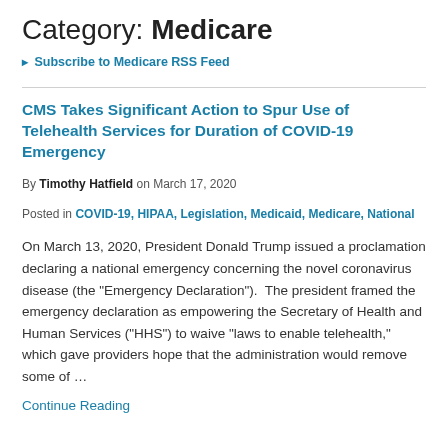Category: Medicare
Subscribe to Medicare RSS Feed
CMS Takes Significant Action to Spur Use of Telehealth Services for Duration of COVID-19 Emergency
By Timothy Hatfield on March 17, 2020
Posted in COVID-19, HIPAA, Legislation, Medicaid, Medicare, National
On March 13, 2020, President Donald Trump issued a proclamation declaring a national emergency concerning the novel coronavirus disease (the “Emergency Declaration”).  The president framed the emergency declaration as empowering the Secretary of Health and Human Services (“HHS”) to waive “laws to enable telehealth,” which gave providers hope that the administration would remove some of …
Continue Reading